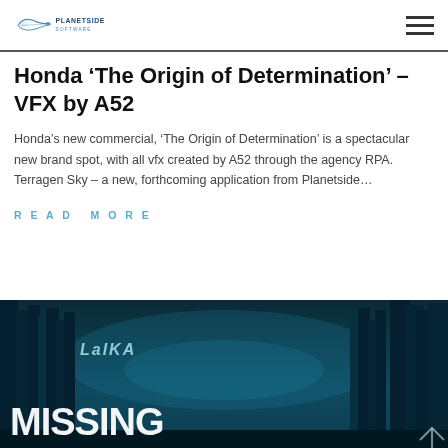Planetside Software logo and navigation menu
Honda ‘The Origin of Determination’ – VFX by A52
Honda’s new commercial, ‘The Origin of Determination’ is a spectacular new brand spot, with all vfx created by A52 through the agency RPA. Terragen Sky – a new, forthcoming application from Planetside…
READ MORE
[Figure (photo): Dark teal/cyan forest scene with tall trees and LAIKA MISSING text overlay]